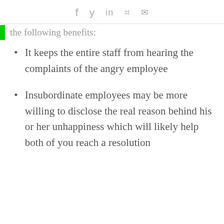f  y  in  #  mail
the following benefits:
It keeps the entire staff from hearing the complaints of the angry employee
Insubordinate employees may be more willing to disclose the real reason behind his or her unhappiness which will likely help both of you reach a resolution